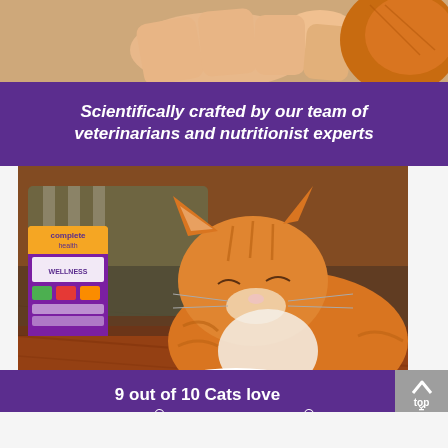[Figure (photo): Hands of a person near a cat's face, top portion of image cropped]
Scientifically crafted by our team of veterinarians and nutritionist experts
[Figure (photo): An orange tabby cat eating from a white bowl on a wooden floor, with a Wellness cat food box visible in the background and a person sitting behind]
9 out of 10 Cats love Wellness® Complete Health®